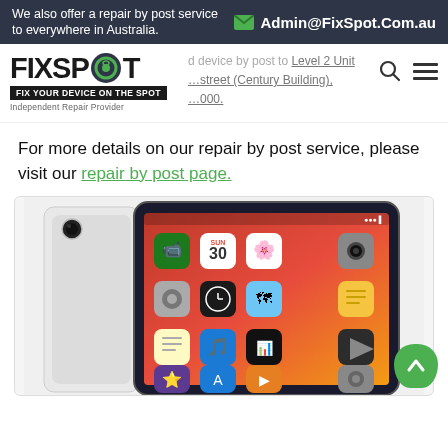We also offer a repair by post service to everywhere in Australia. Admin@FixSpot.Com.au
[Figure (logo): FixSpot logo with circular green eye graphic. Tagline bar: FIX YOUR DEVICE ON THE SPOT. Subtitle: Independent Repair Provider]
send device by post to Level 2 Unit ... street (Century Building), ... 000.
For more details on our repair by post service, please visit our repair by post page.
[Figure (photo): iPad Pro shown from the back (silver aluminium) and front (showing iOS home screen with app icons on a red/pink gradient wallpaper), partially cropped at the bottom.]